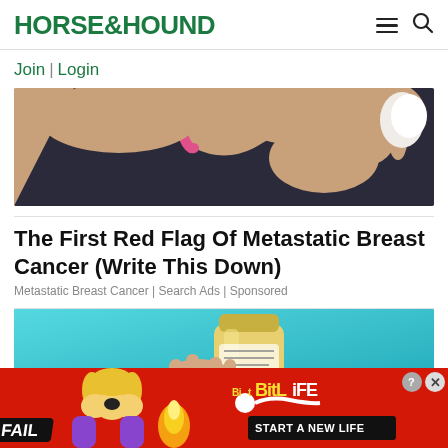HORSE&HOUND
Join | Login
[Figure (photo): Woman in dark sports bra with pink strap, hand on chest/under arm, medical advertisement image for metastatic breast cancer]
The First Red Flag Of Metastatic Breast Cancer (Write This Down)
Metastatic Breast Cancer | Search Ads | Sponsored
[Figure (illustration): Cartoon/illustrated medicine bottle on teal background, partially visible]
[Figure (infographic): BitLife game advertisement banner - red background with FAIL text, animated character with hands on face, fire flame, sperm icon, BitLife logo in yellow, START A NEW LIFE button]